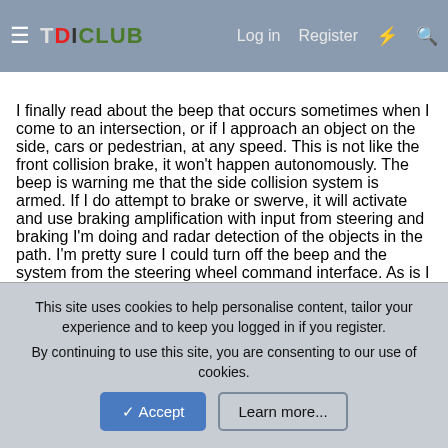TDICLUB — Log in  Register
I finally read about the beep that occurs sometimes when I come to an intersection, or if I approach an object on the side, cars or pedestrian, at any speed. This is not like the front collision brake, it won't happen autonomously. The beep is warning me that the side collision system is armed. If I do attempt to brake or swerve, it will activate and use braking amplification with input from steering and braking I'm doing and radar detection of the objects in the path. I'm pretty sure I could turn off the beep and the system from the steering wheel command interface. As is I have been ignoring the beep for years. I guess it's no more than a warning not to make any sudden moves or computerized braking/steering may occur. I'm a fan of front collision systems. I'm neutral on this, but if I ever use it I may like it. It is an extension of ABS, which works as you
This site uses cookies to help personalise content, tailor your experience and to keep you logged in if you register.
By continuing to use this site, you are consenting to our use of cookies.